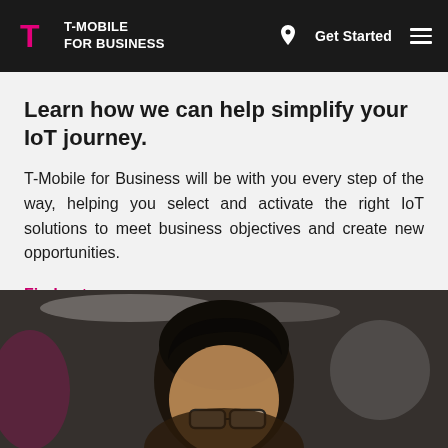T-MOBILE FOR BUSINESS | Get Started
Learn how we can help simplify your IoT journey.
T-Mobile for Business will be with you every step of the way, helping you select and activate the right IoT solutions to meet business objectives and create new opportunities.
Find out more >
[Figure (photo): Close-up photo of an Asian man wearing glasses, looking at a screen, in a blurred industrial or office environment with pink/magenta lighting accents in the background]